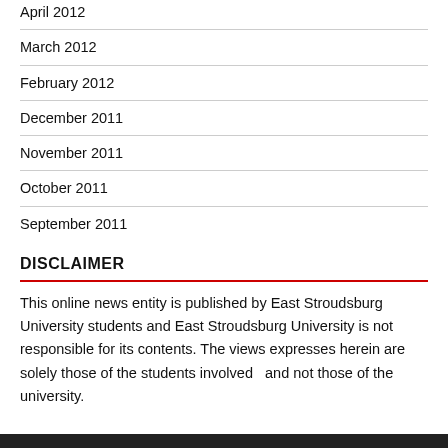April 2012
March 2012
February 2012
December 2011
November 2011
October 2011
September 2011
DISCLAIMER
This online news entity is published by East Stroudsburg University students and East Stroudsburg University is not responsible for its contents. The views expresses herein are solely those of the students involved  and not those of the university.